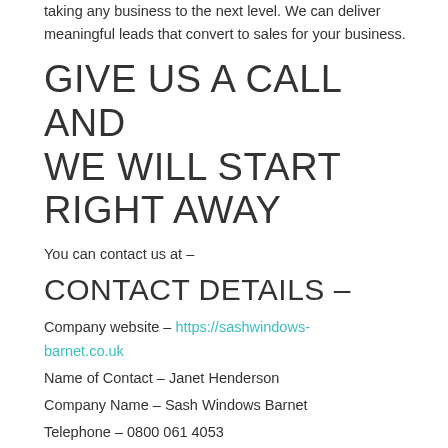taking any business to the next level. We can deliver meaningful leads that convert to sales for your business.
GIVE US A CALL AND WE WILL START RIGHT AWAY
You can contact us at –
CONTACT DETAILS –
Company website – https://sashwindows-barnet.co.uk
Name of Contact – Janet Henderson
Company Name – Sash Windows Barnet
Telephone – 0800 061 4053
Company Email – contact@sashwindows-